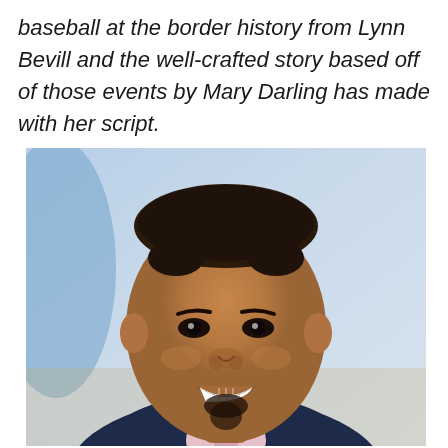baseball at the border history from Lynn Bevill and the well-crafted story based off of those events by Mary Darling has made with her script.
[Figure (photo): Professional headshot of a smiling Black man with short hair and a goatee, wearing a dark suit jacket and light pink dress shirt, photographed against a light blue gradient background.]